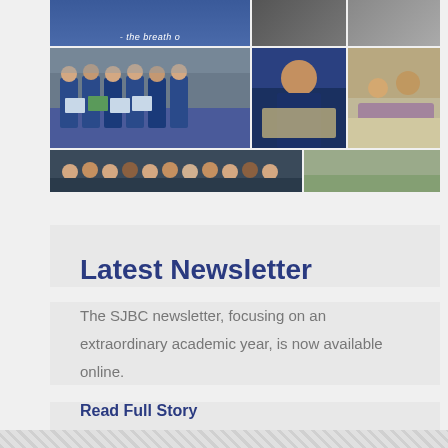[Figure (photo): School photo collage grid showing students in blue uniforms, group photos, classroom activities, and lab work]
Latest Newsletter
The SJBC newsletter, focusing on an extraordinary academic year, is now available online.
Read Full Story